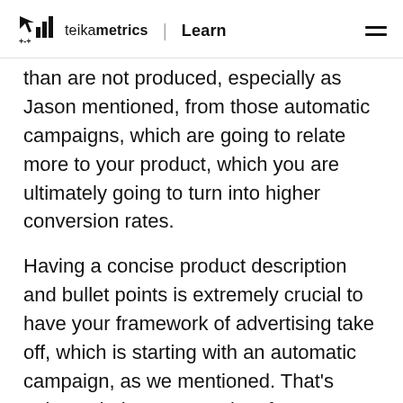teikametrics | Learn
than are not produced, especially as Jason mentioned, from those automatic campaigns, which are going to relate more to your product, which you are ultimately going to turn into higher conversion rates.
Having a concise product description and bullet points is extremely crucial to have your framework of advertising take off, which is starting with an automatic campaign, as we mentioned. That's going to help prevent a lot of waste, because naturally an automatic campaign will not